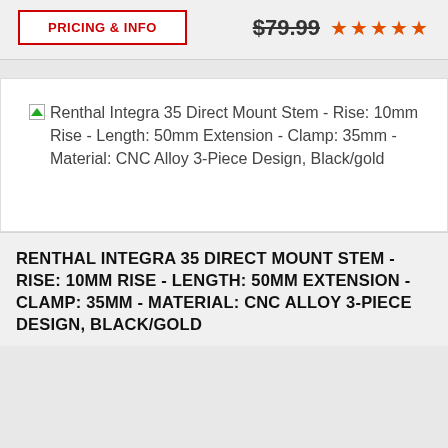PRICING & INFO
$79.99 ★★★★★
[Figure (photo): Product image placeholder for Renthal Integra 35 Direct Mount Stem]
Renthal Integra 35 Direct Mount Stem - Rise: 10mm Rise - Length: 50mm Extension - Clamp: 35mm - Material: CNC Alloy 3-Piece Design, Black/gold
RENTHAL INTEGRA 35 DIRECT MOUNT STEM - RISE: 10MM RISE - LENGTH: 50MM EXTENSION - CLAMP: 35MM - MATERIAL: CNC ALLOY 3-PIECE DESIGN, BLACK/GOLD